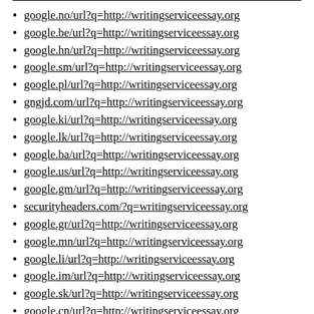google.no/url?q=http://writingserviceessay.org
google.be/url?q=http://writingserviceessay.org
google.hn/url?q=http://writingserviceessay.org
google.sm/url?q=http://writingserviceessay.org
google.pl/url?q=http://writingserviceessay.org
gngjd.com/url?q=http://writingserviceessay.org
google.ki/url?q=http://writingserviceessay.org
google.lk/url?q=http://writingserviceessay.org
google.ba/url?q=http://writingserviceessay.org
google.us/url?q=http://writingserviceessay.org
google.gm/url?q=http://writingserviceessay.org
securityheaders.com/?q=writingserviceessay.org
google.gr/url?q=http://writingserviceessay.org
google.mn/url?q=http://writingserviceessay.org
google.li/url?q=http://writingserviceessay.org
google.im/url?q=http://writingserviceessay.org
google.sk/url?q=http://writingserviceessay.org
google.cn/url?q=http://writingserviceessay.org
google.io/url?q=http://writingserviceessay.org